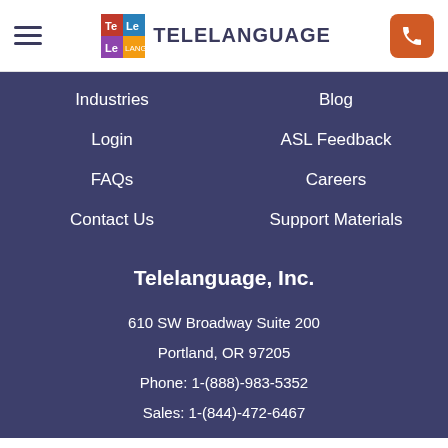TELELANGUAGE
Industries
Blog
Login
ASL Feedback
FAQs
Careers
Contact Us
Support Materials
Telelanguage, Inc.
610 SW Broadway Suite 200
Portland, OR 97205
Phone: 1-(888)-983-5352
Sales: 1-(844)-472-6467